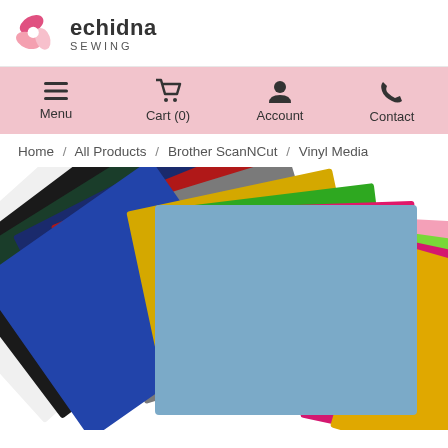[Figure (logo): Echidna Sewing logo with pink petals graphic and brand name]
Menu  Cart (0)  Account  Contact
Home / All Products / Brother ScanNCut / Vinyl Media
[Figure (photo): Fan of colorful vinyl media sheets in multiple colors including blue, light blue, pink, green, yellow, red, gray, dark green, black, and white arranged in a fan shape]